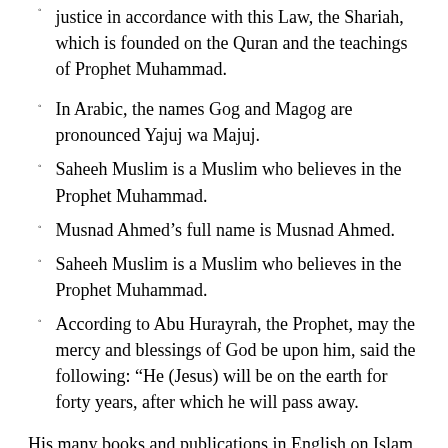justice in accordance with this Law, the Shariah, which is founded on the Quran and the teachings of Prophet Muhammad.
In Arabic, the names Gog and Magog are pronounced Yajuj wa Majuj.
Saheeh Muslim is a Muslim who believes in the Prophet Muhammad.
Musnad Ahmed’s full name is Musnad Ahmed.
Saheeh Muslim is a Muslim who believes in the Prophet Muhammad.
According to Abu Hurayrah, the Prophet, may the mercy and blessings of God be upon him, said the following: “He (Jesus) will be on the earth for forty years, after which he will pass away.
His many books and publications in English on Islam and interfaith topics include The Return of